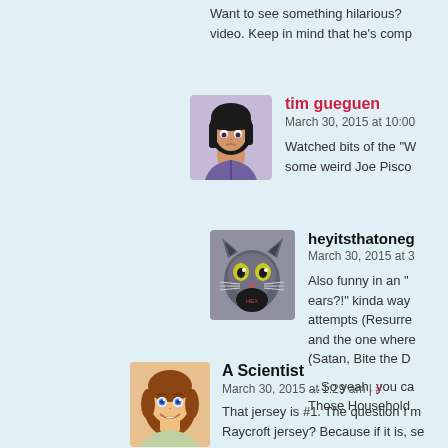Want to see something hilarious? video. Keep in mind that he's comp
tim gueguen
March 30, 2015 at 10:00
Watched bits of the "W some weird Joe Pisco
heyitsthatoneg
March 30, 2015 at 3
Also funny in an "ears?!" kinda way attempts (Resurre and the one where (Satan, Bite the D
…So yeah, you ca Those Household
A Scientist
March 30, 2015 at 1:29 am | #
That jersey is #1. The question I m Raycroft jersey? Because if it is, se